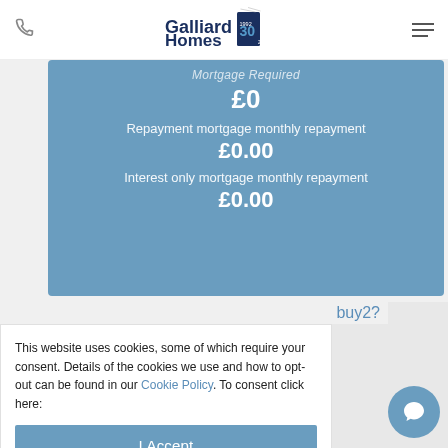Galliard Homes
Mortgage Required
£0
Repayment mortgage monthly repayment
£0.00
Interest only mortgage monthly repayment
£0.00
buy2?
This website uses cookies, some of which require your consent. Details of the cookies we use and how to opt-out can be found in our Cookie Policy. To consent click here:
I Accept